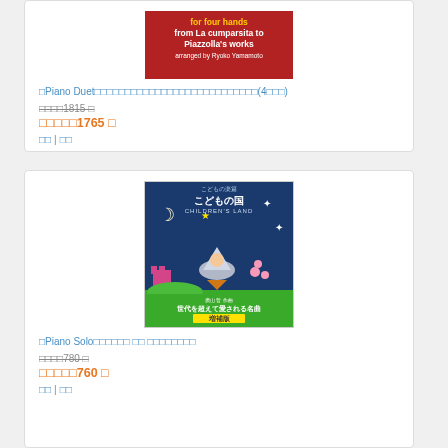[Figure (photo): Red book cover with text 'for four hands from La cumparsita to Piazzolla's works arranged by Ryoko Yamamoto']
□Piano Duet□□□□□□□□□□□□□□□□□□□□□□□□□□□(4□□□)
□□□□1815 □
□□□□□1765 □
□□ | □□
[Figure (photo): Blue book cover with Japanese title こどもの国 (Children's Land), showing a child in a rocket, moon, stars, and green hills. Bottom green bar with text 世代を超えて愛される名曲 増補版]
□Piano Solo□□□□□□ □□ □□□□□□□□
□□□□780 □
□□□□□760 □
□□ | □□